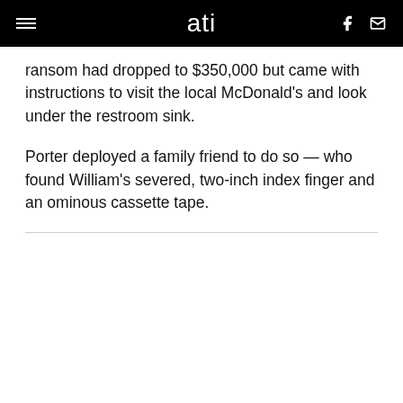ati
ransom had dropped to $350,000 but came with instructions to visit the local McDonald’s and look under the restroom sink.
Porter deployed a family friend to do so — who found William’s severed, two-inch index finger and an ominous cassette tape.